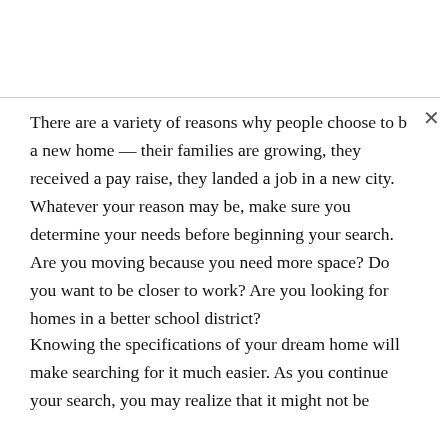There are a variety of reasons why people choose to b[uy] a new home — their families are growing, they received a pay raise, they landed a job in a new city. Whatever your reason may be, make sure you determine your needs before beginning your search. Are you moving because you need more space? Do you want to be closer to work? Are you looking for homes in a better school district?
Knowing the specifications of your dream home will make searching for it much easier. As you continue your search, you may realize that it might not be